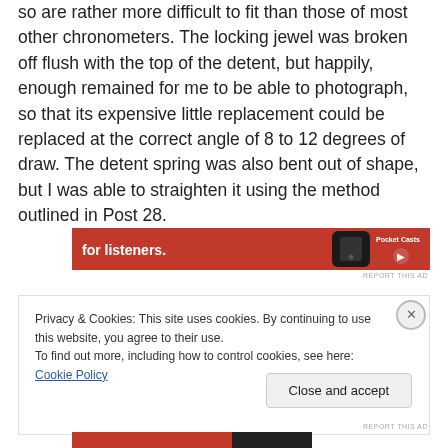so are rather more difficult to fit than those of most other chronometers. The locking jewel was broken off flush with the top of the detent, but happily, enough remained for me to be able to photograph, so that its expensive little replacement could be replaced at the correct angle of 8 to 12 degrees of draw. The detent spring was also bent out of shape, but I was able to straighten it using the method outlined in Post 28.
[Figure (other): Red advertisement banner with text 'for listeners.' and an image of a smartphone, with a logo on the right side]
REPORT THIS AD
Privacy & Cookies: This site uses cookies. By continuing to use this website, you agree to their use.
To find out more, including how to control cookies, see here: Cookie Policy
Close and accept